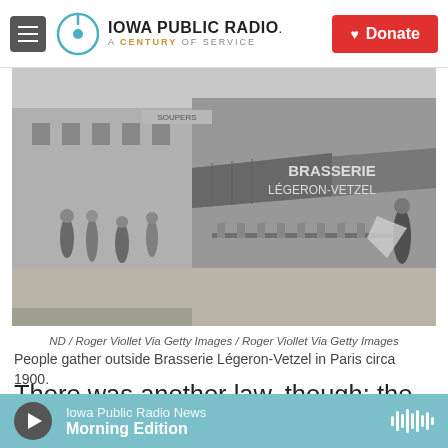Iowa Public Radio. A Century of Service. Donate
[Figure (photo): Black and white historical photo of people gathering outside Brasserie Légeron-Vetzel in Paris circa 1900. Street scene with pedestrians, awnings, and café chairs visible.]
ND / Roger Viollet Via Getty Images / Roger Viollet Via Getty Images
People gather outside Brasserie Légeron-Vetzel in Paris circa 1900.
There was another law, though: the law of unforeseen consequences. Bruegel points out that
Iowa Public Radio News Morning Edition